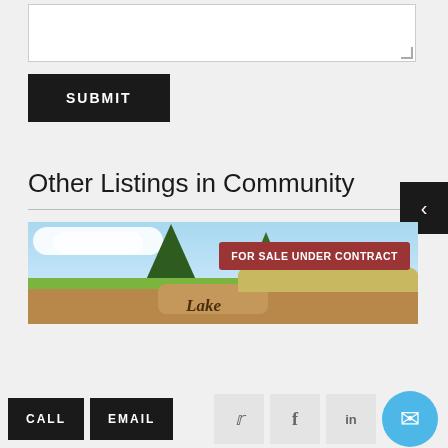[Figure (screenshot): A text area input field (white box with resize handle) for a form]
SUBMIT
Other Listings in Community
[Figure (photo): A real estate listing photo showing pine trees, sky, clouds, and a rock with text reading 'Lake'. A red badge overlay reads 'FOR SALE UNDER CONTRACT'.]
CALL
EMAIL